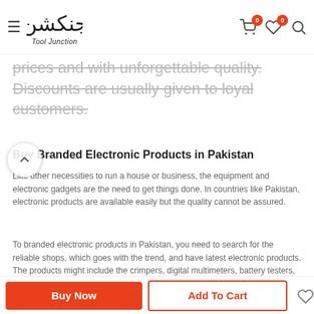Tool Junction — navigation header with logo, cart (0), wishlist (0), search
prices and with unforgettable quality. Discounts are usually given to loyal customers.
Buy Branded Electronic Products in Pakistan
Like other necessities to run a house or business, the equipment and electronic gadgets are the need to get things done. In countries like Pakistan, electronic products are available easily but the quality cannot be assured.
To branded electronic products in Pakistan, you need to search for the reliable shops, which goes with the trend, and have latest electronic products. The products might include the crimpers, digital multimeters, battery testers, cables and other tools.
Buy Now | Add To Cart